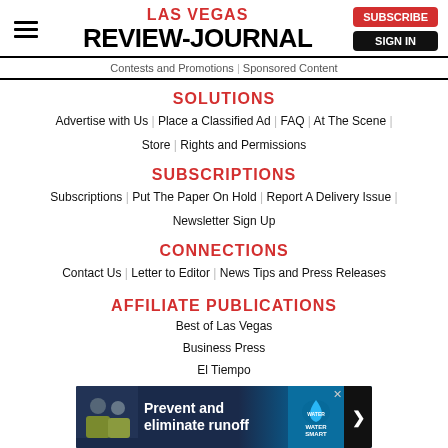LAS VEGAS REVIEW-JOURNAL | SUBSCRIBE | SIGN IN
Contests and Promotions | Sponsored Content
SOLUTIONS
Advertise with Us | Place a Classified Ad | FAQ | At The Scene
Store | Rights and Permissions
SUBSCRIPTIONS
Subscriptions | Put The Paper On Hold | Report A Delivery Issue
Newsletter Sign Up
CONNECTIONS
Contact Us | Letter to Editor | News Tips and Press Releases
AFFILIATE PUBLICATIONS
Best of Las Vegas
Business Press
El Tiempo
Pahrump Valley Times
[Figure (other): Advertisement banner: Prevent and eliminate runoff - City Water Smart]